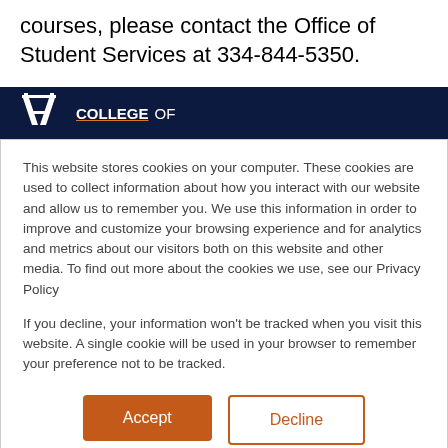courses, please contact the Office of Student Services at 334-844-5350.
[Figure (logo): Auburn University AU logo in white on dark navy background]
COLLEGE OF ARCHITECTURE
This website stores cookies on your computer. These cookies are used to collect information about how you interact with our website and allow us to remember you. We use this information in order to improve and customize your browsing experience and for analytics and metrics about our visitors both on this website and other media. To find out more about the cookies we use, see our Privacy Policy
If you decline, your information won’t be tracked when you visit this website. A single cookie will be used in your browser to remember your preference not to be tracked.
Accept
Decline